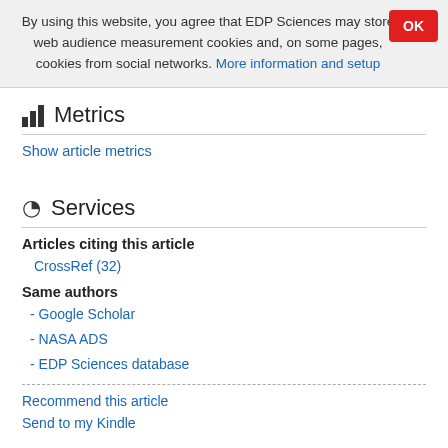By using this website, you agree that EDP Sciences may store web audience measurement cookies and, on some pages, cookies from social networks. More information and setup
Metrics
Show article metrics
Services
Articles citing this article
CrossRef (32)
Same authors
- Google Scholar
- NASA ADS
- EDP Sciences database
Recommend this article
Send to my Kindle